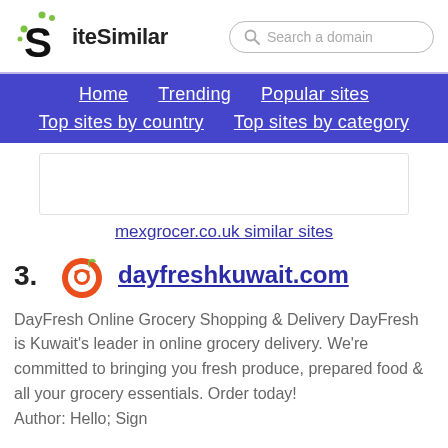SiteSimilar
Search a domain
Home   Trending   Popular sites   Top sites by country   Top sites by category
[Figure (other): Advertisement or placeholder white box]
mexgrocer.co.uk similar sites
23. dayfreshkuwait.com
DayFresh Online Grocery Shopping & Delivery DayFresh is Kuwait's leader in online grocery delivery. We're committed to bringing you fresh produce, prepared food & all your grocery essentials. Order today! Author: Hello; Sign